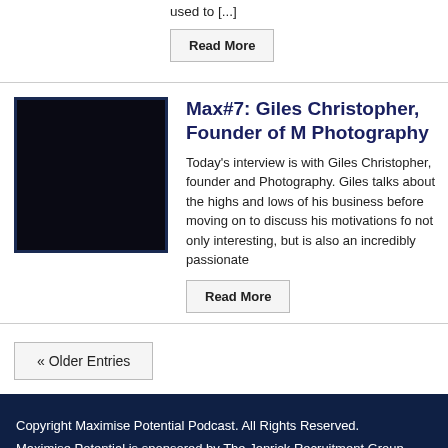used to [...]
Read More
Max#7: Giles Christopher, Founder of M Photography
[Figure (photo): Dark/black square image with dark navy border, likely a podcast or article thumbnail]
Today's interview is with Giles Christopher, founder and Photography. Giles talks about the highs and lows of his business before moving on to discuss his motivations fo not only interesting, but is also an incredibly passionate
Read More
« Older Entries
Copyright Maximise Potential Podcast. All Rights Reserved.
Maximise Potential is sponsored by The Jenrick Recruitment Group.
"Be successful in Life, Careers and Business through original inspiring people interviews"